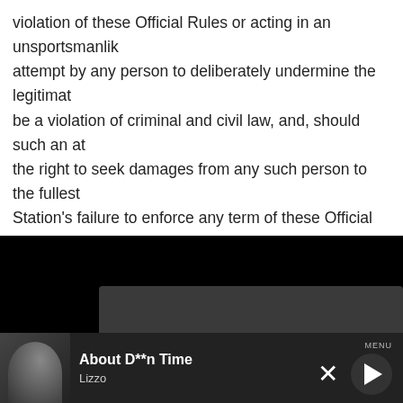violation of these Official Rules or acting in an unsportsmanlike attempt by any person to deliberately undermine the legitimat... be a violation of criminal and civil law, and, should such an at... the right to seek damages from any such person to the fullest... Station's failure to enforce any term of these Official Rules sh...
[Figure (screenshot): Mobile app navigation overlay on dark background with auto-closing banner, BACK/COLLAPSE controls, and nav buttons: PLAYLIST, TOP HITS, LISTEN LIVE, MY VOTES, CONTROLS. Data opt-out toggle. Now playing bar showing 'About D**n Time' by Lizzo with MENU, close X, and play button.]